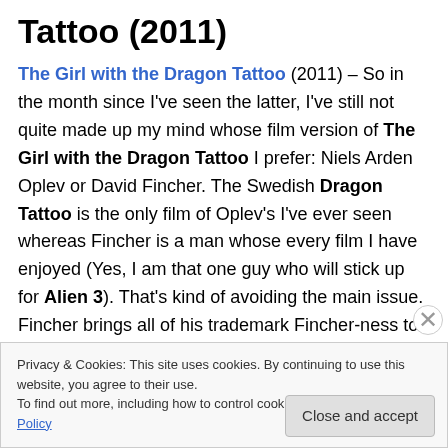Tattoo (2011)
The Girl with the Dragon Tattoo (2011) – So in the month since I've seen the latter, I've still not quite made up my mind whose film version of The Girl with the Dragon Tattoo I prefer: Niels Arden Oplev or David Fincher. The Swedish Dragon Tattoo is the only film of Oplev's I've ever seen whereas Fincher is a man whose every film I have enjoyed (Yes, I am that one guy who will stick up for Alien 3). That's kind of avoiding the main issue. Fincher brings all of his trademark Fincher-ness to Stieg Larson's
Privacy & Cookies: This site uses cookies. By continuing to use this website, you agree to their use.
To find out more, including how to control cookies, see here: Cookie Policy
Close and accept